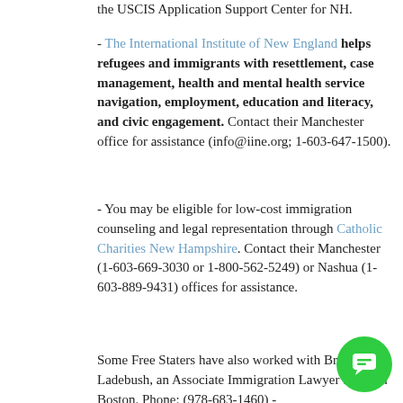the USCIS Application Support Center for NH.
- The International Institute of New England helps refugees and immigrants with resettlement, case management, health and mental health service navigation, employment, education and literacy, and civic engagement. Contact their Manchester office for assistance (info@iine.org; 1-603-647-1500).
- You may be eligible for low-cost immigration counseling and legal representation through Catholic Charities New Hampshire. Contact their Manchester (1-603-669-3030 or 1-800-562-5249) or Nashua (1-603-889-9431) offices for assistance.
Some Free Staters have also worked with Brandon Ladebush, an Associate Immigration Lawyer based in Boston. Phone: (978-683-1460) - Email: branden@gomezpalumbolaw.com
New Hampshire's Russian Speaking Community
If you have questions for your fellow Free Staters, feel free to post in our groups on Facebook and Discord server.
[Figure (other): Green circular chat bubble icon in bottom right corner]